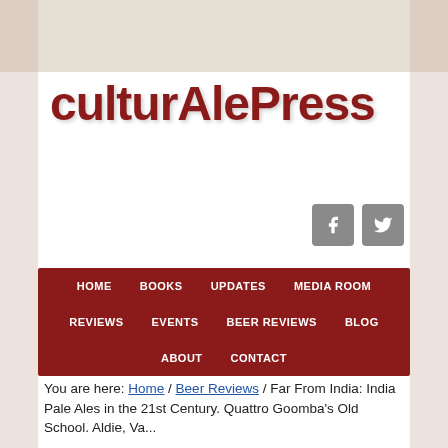[Figure (logo): CulturAlePress website logo in dark red text]
[Figure (other): Facebook and Twitter social media icon buttons in grey]
HOME  BOOKS  UPDATES  MEDIA ROOM  REVIEWS  EVENTS  BEER REVIEWS  BLOG  ABOUT  CONTACT
You are here: Home / Beer Reviews / Far From India: India Pale Ales in the 21st Century. Quattro Goomba's Old School. Aldie, Va...